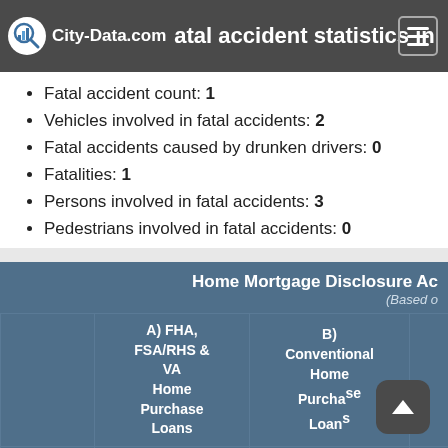Fatal accident statistics in 2012
Fatal accident count: 1
Vehicles involved in fatal accidents: 2
Fatal accidents caused by drunken drivers: 0
Fatalities: 1
Persons involved in fatal accidents: 3
Pedestrians involved in fatal accidents: 0
|  | A) FHA, FSA/RHS & VA Home Purchase Loans | B) Conventional Home Purchase Loans |  |
| --- | --- | --- | --- |
|  |  |  |  |